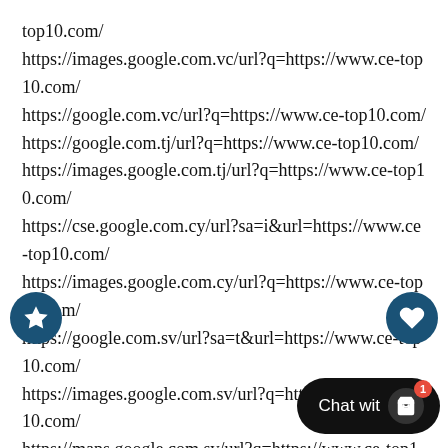top10.com/
https://images.google.com.vc/url?q=https://www.ce-top10.com/
https://google.com.vc/url?q=https://www.ce-top10.com/
https://google.com.tj/url?q=https://www.ce-top10.com/
https://images.google.com.tj/url?q=https://www.ce-top10.com/
https://cse.google.com.cy/url?sa=i&url=https://www.ce-top10.com/
https://images.google.com.cy/url?q=https://www.ce-top10.com/
https://google.com.sv/url?sa=t&url=https://www.ce-top10.com/
https://images.google.com.sv/url?q=https://www.ce-top10.com/
https://maps.google.com.sv/url?q=https://www.ce-top10.com/